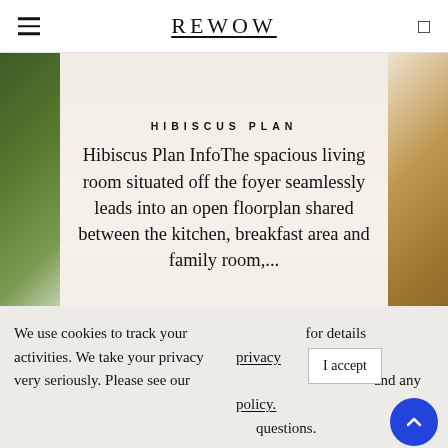REWOW
[Figure (photo): Exterior rendering of a house with greenery on the left and warm-toned masonry on the right, with a semi-transparent overlay showing the Hibiscus Plan description text]
HIBISCUS PLAN
Hibiscus Plan InfoThe spacious living room situated off the foyer seamlessly leads into an open floorplan shared between the kitchen, breakfast area and family room,...
Read More about Hibiscus Plan
We use cookies to track your activities. We take your privacy very seriously. Please see our for details privacy and any policy. questions.